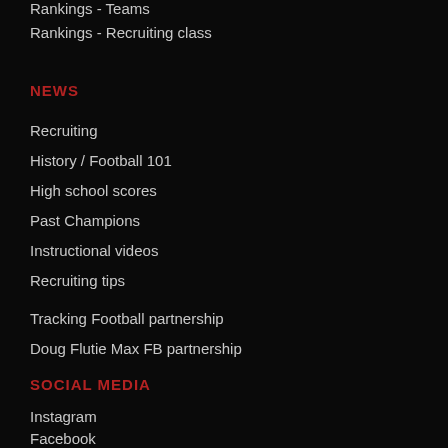Rankings - Teams
Rankings - Recruiting class
NEWS
Recruiting
History / Football 101
High school scores
Past Champions
Instructional videos
Recruiting tips
Tracking Football partnership
Doug Flutie Max FB partnership
SOCIAL MEDIA
Instagram
Facebook
Twitter